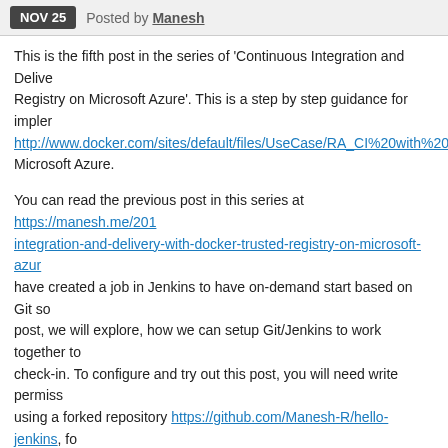NOV 25  Posted by Manesh
This is the fifth post in the series of 'Continuous Integration and Delivery with Docker Trusted Registry on Microsoft Azure'. This is a step by step guidance for implementing http://www.docker.com/sites/default/files/UseCase/RA_CI%20with%20... Microsoft Azure.
You can read the previous post in this series at https://manesh.me/201... integration-and-delivery-with-docker-trusted-registry-on-microsoft-azure... have created a job in Jenkins to have on-demand start based on Git source. In this post, we will explore, how we can setup Git/Jenkins to work together to trigger on every check-in. To configure and try out this post, you will need write permissions or you can start using a forked repository https://github.com/Manesh-R/hello-jenkins, fo...
Prerequisites
Microsoft Azure Subscription
Followed steps in all prior posts
Write permission on Git repository (Forking the Git project will be the e...